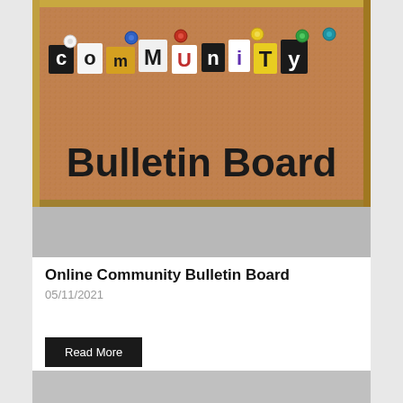[Figure (photo): A cork bulletin board with colorful pushpins and cut-out letters spelling 'community Bulletin Board' on a reddish speckled background, framed in light wood.]
[Figure (other): Gray banner/placeholder rectangle below the bulletin board photo.]
Online Community Bulletin Board
05/11/2021
Read More
[Figure (other): Gray banner/placeholder rectangle at the bottom of the page.]